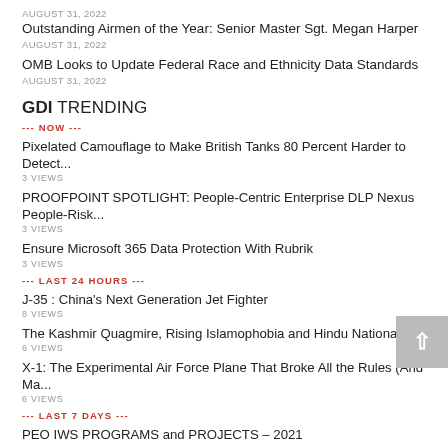AUGUST 31, 2022
Outstanding Airmen of the Year: Senior Master Sgt. Megan Harper
AUGUST 31, 2022
OMB Looks to Update Federal Race and Ethnicity Data Standards
AUGUST 31, 2022
GDI TRENDING
--- NOW ---
Pixelated Camouflage to Make British Tanks 80 Percent Harder to Detect...
3 VIEWS
PROOFPOINT SPOTLIGHT: People-Centric Enterprise DLP Nexus People-Risk...
3 VIEWS
Ensure Microsoft 365 Data Protection With Rubrik
3 VIEWS
--- LAST 24 HOURS ---
J-35 : China's Next Generation Jet Fighter
8 VIEWS
The Kashmir Quagmire, Rising Islamophobia and Hindu Nationalism
6 VIEWS
X-1: The Experimental Air Force Plane That Broke All the Rules (And Ma...
6 VIEWS
--- LAST 7 DAYS ---
PEO IWS PROGRAMS and PROJECTS – 2021